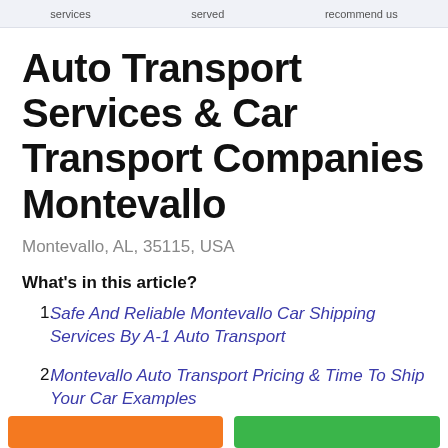services   served   recommend us
Auto Transport Services & Car Transport Companies Montevallo
Montevallo, AL, 35115, USA
What's in this article?
Safe And Reliable Montevallo Car Shipping Services By A-1 Auto Transport
Montevallo Auto Transport Pricing & Time To Ship Your Car Examples